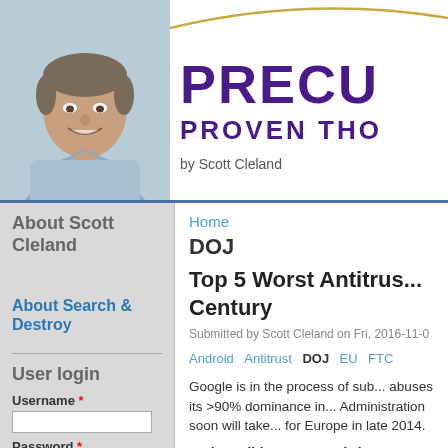[Figure (photo): Photo of Scott Cleland, a middle-aged man smiling, wearing a light blue button-down shirt, against a light blue-grey background]
PRECU
PROVEN THO
by Scott Cleland
About Scott Cleland
About Search & Destroy
User login
Username *
Password *
Home
DOJ
Top 5 Worst Antitrus... Century
Submitted by Scott Cleland on Fri, 2016-11-0
Android   Antitrust   DOJ   EU   FTC
Google is in the process of sub... abuses its >90% dominance in... Administration soon will take... for Europe in late 2014.
So how did EU v. Google bec...